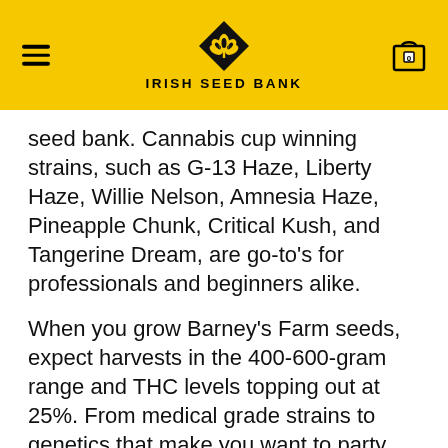IRISH SEED BANK
seed bank. Cannabis cup winning strains, such as G-13 Haze, Liberty Haze, Willie Nelson, Amnesia Haze, Pineapple Chunk, Critical Kush, and Tangerine Dream, are go-to's for professionals and beginners alike.
When you grow Barney's Farm seeds, expect harvests in the 400-600-gram range and THC levels topping out at 25%. From medical grade strains to genetics that make you want to party, Barney's Farm has it all.
Ready to enter a world filled with mind-blowing levels of THC, record-breaking ha... gorgeous bag appeal? If so, take a... ing
[Figure (other): Language selector widget showing UK flag, EN label, and chevron arrow]